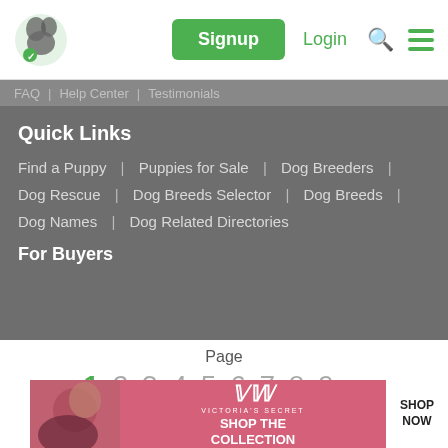Signup | Login
FAQ | Help Center | Testimonials
Quick Links
Find a Puppy | Puppies for Sale | Dog Breeders |
Dog Rescue | Dog Breeds Selector | Dog Breeds |
Dog Names | Dog Related Directories
For Buyers
Page
1 2 3 4 5 6 7 8 9 >
Items per page: 10 25 50
[Figure (advertisement): Victoria's Secret advertisement banner: SHOP THE COLLECTION with SHOP NOW button]